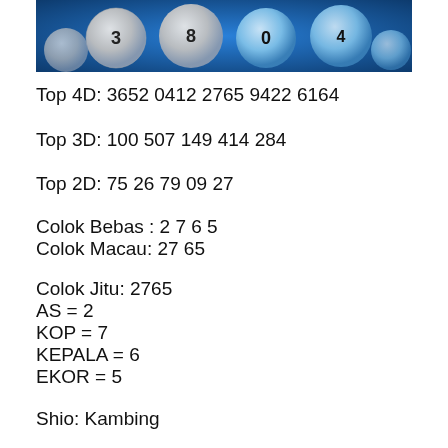[Figure (photo): Lottery balls on blue background with numbers visible]
Top 4D: 3652 0412 2765 9422 6164
Top 3D: 100 507 149 414 284
Top 2D: 75 26 79 09 27
Colok Bebas : 2 7 6 5
Colok Macau: 27 65
Colok Jitu: 2765
AS = 2
KOP = 7
KEPALA = 6
EKOR = 5
Shio: Kambing